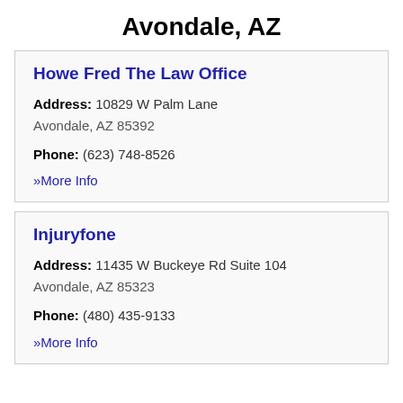Avondale, AZ
Howe Fred The Law Office
Address: 10829 W Palm Lane Avondale, AZ 85392
Phone: (623) 748-8526
» More Info
Injuryfone
Address: 11435 W Buckeye Rd Suite 104 Avondale, AZ 85323
Phone: (480) 435-9133
» More Info